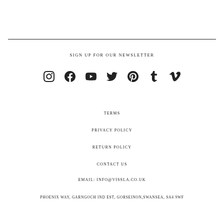SIGN UP FOR OUR NEWSLETTER
[Figure (illustration): Social media icons row: Instagram, Facebook, YouTube, Twitter, Pinterest, Tumblr, Vimeo]
TERMS
PRIVACY POLICY
RETURN POLICY
CONTACT US
EMAIL: INFO@VISSLA.CO.UK
PHOENIX WAY, GARNGOCH IND EST, GORSEINON,SWANSEA, SA4 9WF